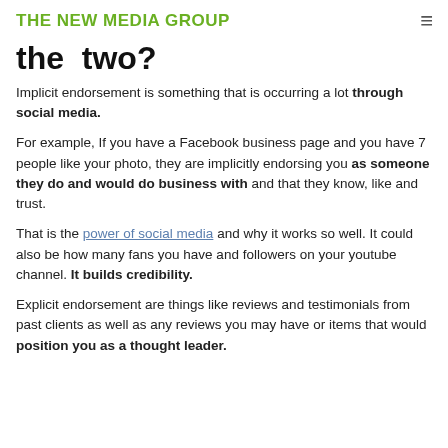THE NEW MEDIA GROUP
the two?
Implicit endorsement is something that is occurring a lot through social media.
For example, If you have a Facebook business page and you have 7 people like your photo, they are implicitly endorsing you as someone they do and would do business with and that they know, like and trust.
That is the power of social media and why it works so well. It could also be how many fans you have and followers on your youtube channel. It builds credibility.
Explicit endorsement are things like reviews and testimonials from past clients as well as any reviews you may have or items that would position you as a thought leader.